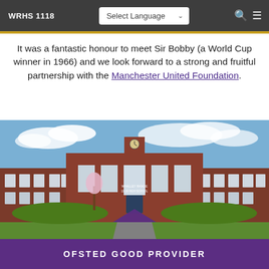WRHS 1118
It was a fantastic honour to meet Sir Bobby (a World Cup winner in 1966) and we look forward to a strong and fruitful partnership with the Manchester United Foundation.
[Figure (photo): Front exterior of Whalley Range 11-18 High School, a large red-brick building with arched windows and a clock tower, with manicured hedges and lawn in the foreground.]
OFSTED GOOD PROVIDER